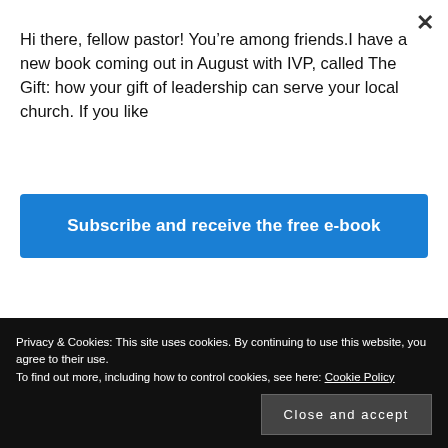Hi there, fellow pastor! You’re among friends.I have a new book coming out in August with IVP, called The Gift: how your gift of leadership can serve your local church. If you like
Subscribe and receive the free e-book
[Figure (photo): Black horizontal image bar (partially visible)]
All Souls
Redeemer
Saddleback
St Andrew the Great
Privacy & Cookies: This site uses cookies. By continuing to use this website, you agree to their use.
To find out more, including how to control cookies, see here: Cookie Policy
Close and accept